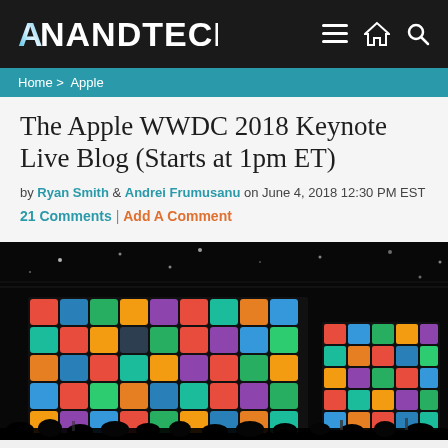ANANDTECH
Home > Apple
The Apple WWDC 2018 Keynote Live Blog (Starts at 1pm ET)
by Ryan Smith & Andrei Frumusanu on June 4, 2018 12:30 PM EST
21 Comments | Add A Comment
[Figure (photo): WWDC 2018 keynote stage with large LED screens displaying colorful iOS app icons in a dark auditorium with audience silhouettes]